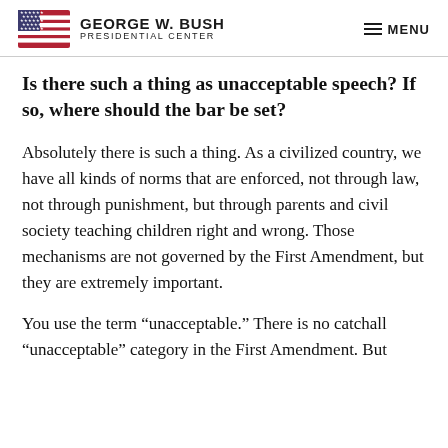George W. Bush Presidential Center | MENU
Is there such a thing as unacceptable speech? If so, where should the bar be set?
Absolutely there is such a thing. As a civilized country, we have all kinds of norms that are enforced, not through law, not through punishment, but through parents and civil society teaching children right and wrong. Those mechanisms are not governed by the First Amendment, but they are extremely important.
You use the term “unacceptable.” There is no catchall “unacceptable” category in the First Amendment. But